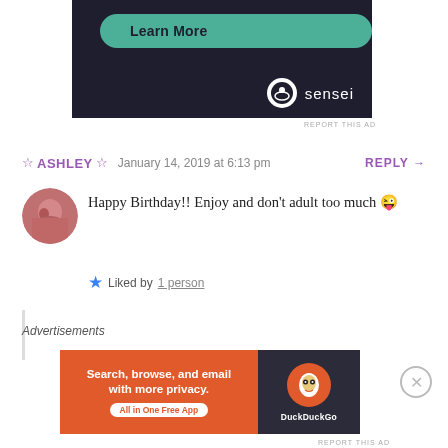[Figure (screenshot): Top advertisement banner with dark background showing 'Learn More' button and sensei logo/branding]
REPORT THIS AD
☆ ASHLEY ☆   January 14, 2019 at 6:13 pm   REPLY →
[Figure (photo): Circular avatar photo of a person]
Happy Birthday!! Enjoy and don't adult too much 😜
★ Liked by 1 person
Advertisements
[Figure (screenshot): DuckDuckGo advertisement: 'Search, browse, and email with more privacy. All in One Free App' on orange background with DuckDuckGo logo on dark right side]